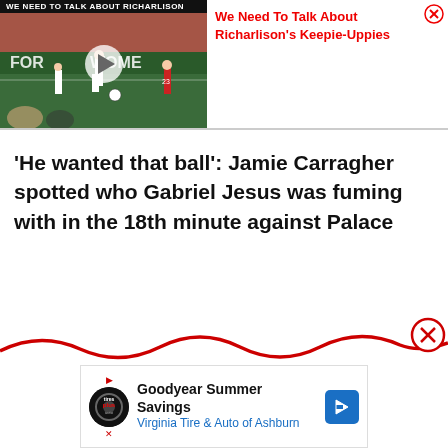[Figure (screenshot): Video thumbnail showing a football/soccer match with players on a green pitch. White text header bar reads 'We Need To Talk About Richarlison'. A play button is overlaid on the thumbnail.]
We Need To Talk About Richarlison's Keepie-Uppies
'He wanted that ball': Jamie Carragher spotted who Gabriel Jesus was fuming with in the 18th minute against Palace
[Figure (infographic): Red wavy line decorative element at the bottom of the page with a red circle X close button on the right side.]
[Figure (screenshot): Advertisement banner: Goodyear Summer Savings - Virginia Tire & Auto of Ashburn. Shows Tires Plus logo circle, play button, close button, and a blue navigation arrow icon.]